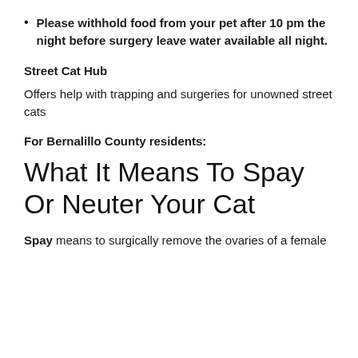Please withhold food from your pet after 10 pm the night before surgery leave water available all night.
Street Cat Hub
Offers help with trapping and surgeries for unowned street cats
For Bernalillo County residents:
What It Means To Spay Or Neuter Your Cat
Spay means to surgically remove the ovaries of a female